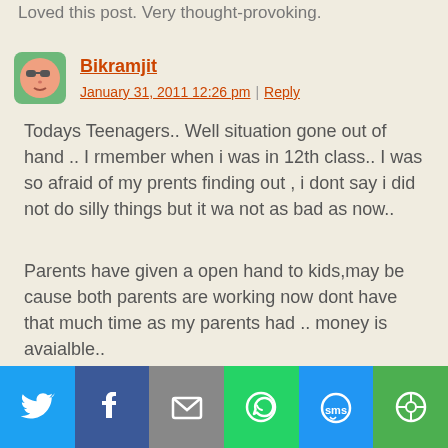Loved this post. Very thought-provoking.
Bikramjit
January 31, 2011 12:26 pm | Reply
Todays Teenagers.. Well situation gone out of hand .. I rmember when i was in 12th class.. I was so afraid of my prents finding out , i dont say i did not do silly things but it wa not as bad as now..
Parents have given a open hand to kids,may be cause both parents are working now dont have that much time as my parents had .. money is avaialble..
My parents always wanted to know WHY i
[Figure (infographic): Social sharing bar with icons for Twitter (blue), Facebook (dark blue), Email (grey), WhatsApp (green), SMS (light blue), and a circular share icon (green)]